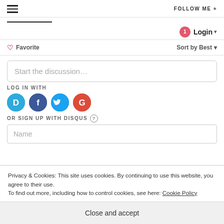☰  FOLLOW ME +
Login ▾
♡ Favorite    Sort by Best ▾
Start the discussion...
LOG IN WITH
[Figure (infographic): Four social login icons: Disqus (D, blue), Facebook (f, dark blue), Twitter (bird, light blue), Google (G, red)]
OR SIGN UP WITH DISQUS ?
Name
Privacy & Cookies: This site uses cookies. By continuing to use this website, you agree to their use.
To find out more, including how to control cookies, see here: Cookie Policy
Close and accept